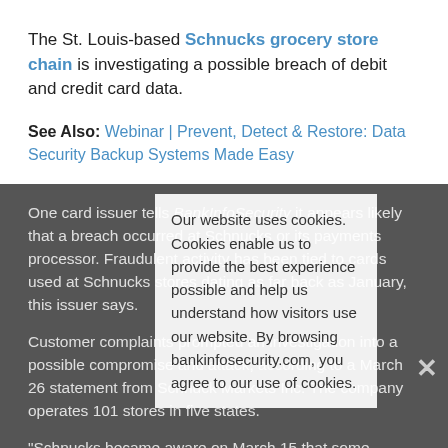The St. Louis-based Schnucks grocery store chain is investigating a possible breach of debit and credit card data.
See Also: Webinar | Prevent, Detect & Restore: Data Security Backup Systems Made Easy
One card issuer tells BankInfoSecurity it appears likely that a breach occurred at Schnucks or its payments processor. Fraudulent activity has been tied to cards used at Schnucks stores dating as far back as January, this issuer says.
Customer complaints prompted an investigation into a possible compromise and attack, according to a March 26 statement from Schnuck Markets Inc. The company operates 101 stores in five states.
"Schnucks became aware on March 15 that some
Our website uses cookies. Cookies enable us to provide the best experience possible and help us understand how visitors use our website. By browsing bankinfosecurity.com, you agree to our use of cookies.